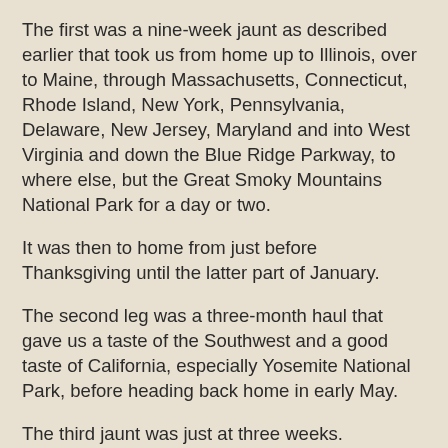The first was a nine-week jaunt as described earlier that took us from home up to Illinois, over to Maine, through Massachusetts, Connecticut, Rhode Island, New York, Pennsylvania, Delaware, New Jersey, Maryland and into West Virginia and down the Blue Ridge Parkway, to where else, but the Great Smoky Mountains National Park for a day or two.
It was then to home from just before Thanksgiving until the latter part of January.
The second leg was a three-month haul that gave us a taste of the Southwest and a good taste of California, especially Yosemite National Park, before heading back home in early May.
The third jaunt was just at three weeks.
It was the beginning of summer and we made it as far as Rapid City, SD. Some say it was the hottest summer in 30 or more years for the Plains states.